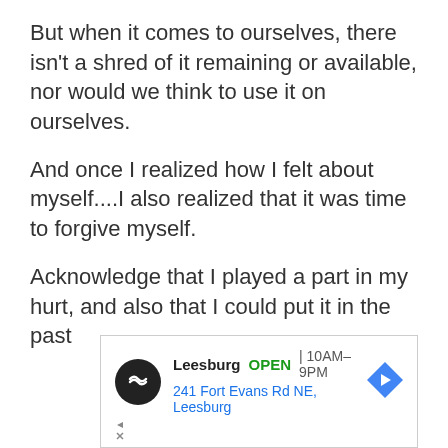But when it comes to ourselves, there isn't a shred of it remaining or available, nor would we think to use it on ourselves.
And once I realized how I felt about myself....I also realized that it was time to forgive myself.
Acknowledge that I played a part in my hurt, and also that I could put it in the past
[Figure (other): Advertisement banner for a store in Leesburg showing logo, OPEN status, hours 10AM-9PM, address 241 Fort Evans Rd NE, Leesburg, with navigation arrow icon and close/dismiss controls]